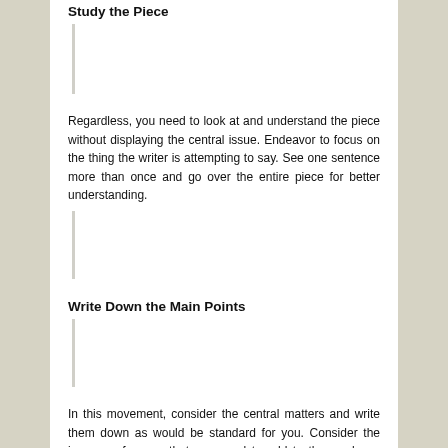Study the Piece
Regardless, you need to look at and understand the piece without displaying the central issue. Endeavor to focus on the thing the writer is attempting to say. See one sentence more than once and go over the entire piece for better understanding.
Write Down the Main Points
In this movement, consider the central matters and write them down as would be standard for you. Consider the immense focuses that you need to add to the rundown. Expecting you need to go over the piece, look at and then, at that point beginning writing the central issue for the outline.